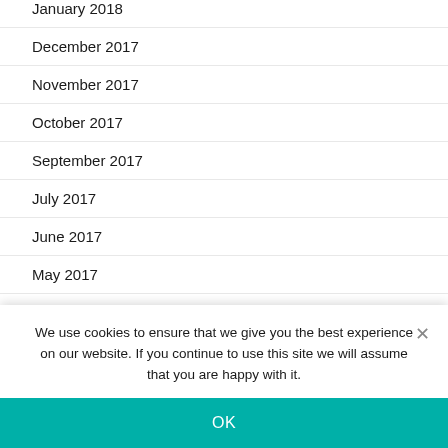January 2018
December 2017
November 2017
October 2017
September 2017
July 2017
June 2017
May 2017
April 2017
We use cookies to ensure that we give you the best experience on our website. If you continue to use this site we will assume that you are happy with it.
OK